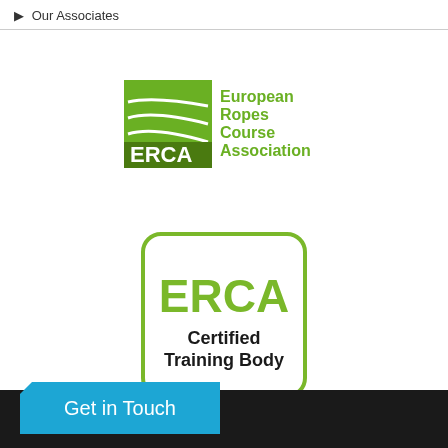▶ Our Associates
[Figure (logo): ERCA European Ropes Course Association logo — green square with diagonal rope lines on left, text on right]
[Figure (logo): ERCA Certified Training Body badge — rounded rectangle with green border, green ERCA text, black Certified Training Body text]
Get in Touch